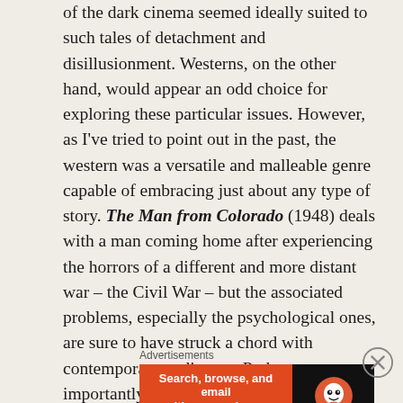of the dark cinema seemed ideally suited to such tales of detachment and disillusionment. Westerns, on the other hand, would appear an odd choice for exploring these particular issues. However, as I've tried to point out in the past, the western was a versatile and malleable genre capable of embracing just about any type of story. The Man from Colorado (1948) deals with a man coming home after experiencing the horrors of a different and more distant war – the Civil War – but the associated problems, especially the psychological ones, are sure to have struck a chord with contemporary audiences. Perhaps more importantly, the film remains relevant for modern audiences as, sadly, new conflicts have a nasty habit of rearing up to rob a little of the soul of almost
Advertisements
[Figure (other): DuckDuckGo advertisement banner: orange left section with text 'Search, browse, and email with more privacy.' and 'All in One Free App' button; dark right section with DuckDuckGo logo and brand name.]